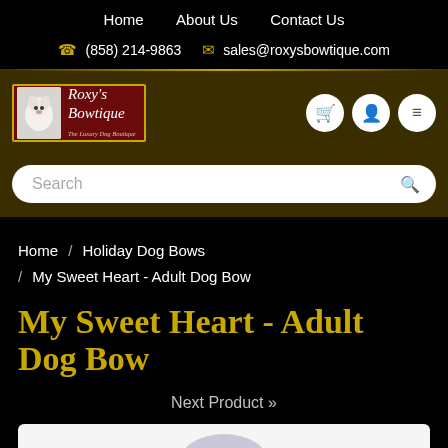Home   About Us   Contact Us
(858) 214-9863   sales@roxysbowtique.com
[Figure (logo): Roxy's Bowtique logo — red background with a white dog image and italic white text 'Roxy's Bowtique', gold border, subtitle 'The Luxury Dog Boutique']
Search
Home / Holiday Dog Bows / My Sweet Heart - Adult Dog Bow
My Sweet Heart - Adult Dog Bow
Next Product »
[Figure (photo): Product image area — white/light grey background with partial circular product image visible at bottom]